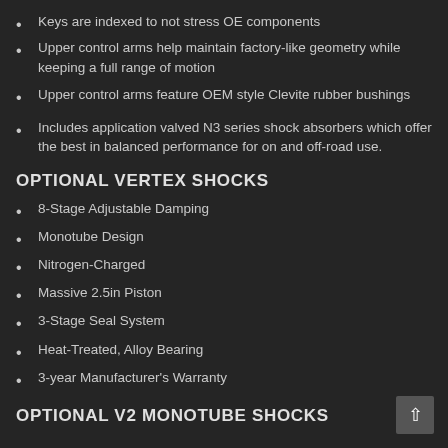Keys are indexed to not stress OE components
Upper control arms help maintain factory-like geometry while keeping a full range of motion
Upper control arms feature OEM style Clevite rubber bushings
Includes application valved N3 series shock absorbers which offer the best in balanced performance for on and off-road use.
OPTIONAL VERTEX SHOCKS
8-Stage Adjustable Damping
Monotube Design
Nitrogen-Charged
Massive 2.5in Piston
3-Stage Seal System
Heat-Treated, Alloy Bearing
3-year Manufacturer's Warranty
OPTIONAL V2 MONOTUBE SHOCKS